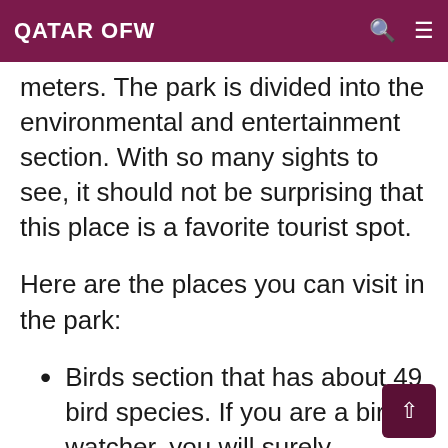QATAR OFW
meters. The park is divided into the environmental and entertainment section. With so many sights to see, it should not be surprising that this place is a favorite tourist spot.
Here are the places you can visit in the park:
Birds section that has about 49 bird species. If you are a bird watcher, you will surely